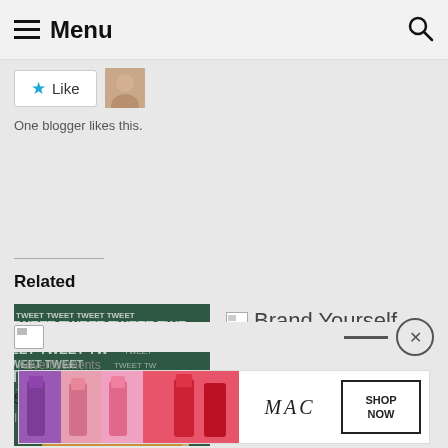Menu
[Figure (screenshot): Like button with star icon and avatar thumbnail]
One blogger likes this.
Related
[Figure (photo): 5 Ways to Build a Great Twitter - woman looking up at chalkboard with TWEET words]
5 Ways to Build a Great Twitter
In "General"
[Figure (illustration): Brand Yourself placeholder image]
5 Steps to Branding Yourself Online
In "General"
Advertisements
[Figure (photo): MAC cosmetics advertisement with lipsticks and SHOP NOW button]